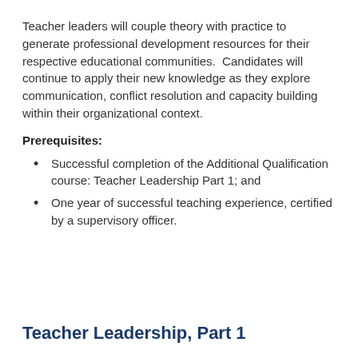Teacher leaders will couple theory with practice to generate professional development resources for their respective educational communities.  Candidates will continue to apply their new knowledge as they explore communication, conflict resolution and capacity building within their organizational context.
Prerequisites:
Successful completion of the Additional Qualification course: Teacher Leadership Part 1; and
One year of successful teaching experience, certified by a supervisory officer.
Teacher Leadership, Part 1